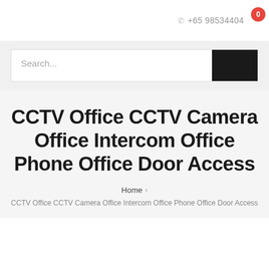+65 98534404
Search...
CCTV Office CCTV Camera Office Intercom Office Phone Office Door Access
Home > CCTV Office CCTV Camera Office Intercom Office Phone Office Door Access